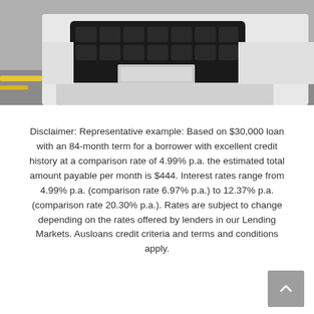[Figure (photo): Close-up front view of a white car grille and bumper with yellow road markings visible on the left side.]
Disclaimer: Representative example: Based on $30,000 loan with an 84-month term for a borrower with excellent credit history at a comparison rate of 4.99% p.a. the estimated total amount payable per month is $444. Interest rates range from 4.99% p.a. (comparison rate 6.97% p.a.) to 12.37% p.a. (comparison rate 20.30% p.a.). Rates are subject to change depending on the rates offered by lenders in our Lending Markets. Ausloans credit criteria and terms and conditions apply.